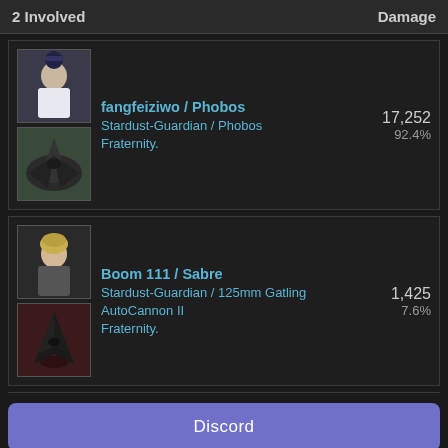2 Involved   Damage
fangfeiziwo / Phobos
Stardust-Guardian / Phobos
Fraternity.
17,252
92.4%
Boom 111 / Sabre
Stardust-Guardian / 125mm Gatling AutoCannon II
Fraternity.
1,425
7.6%
Discord
0  ↑ DUNKED